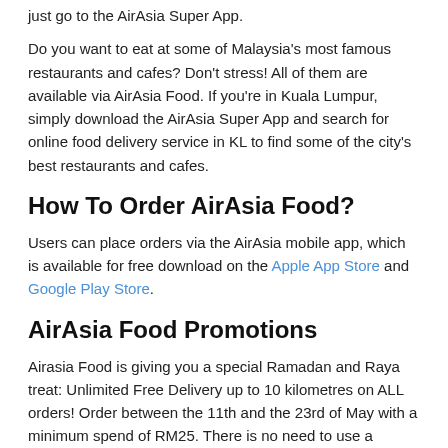just go to the AirAsia Super App.
Do you want to eat at some of Malaysia’s most famous restaurants and cafes? Don’t stress! All of them are available via AirAsia Food. If you’re in Kuala Lumpur, simply download the AirAsia Super App and search for online food delivery service in KL to find some of the city’s best restaurants and cafes.
How To Order AirAsia Food?
Users can place orders via the AirAsia mobile app, which is available for free download on the Apple App Store and Google Play Store.
AirAsia Food Promotions
Airasia Food is giving you a special Ramadan and Raya treat: Unlimited Free Delivery up to 10 kilometres on ALL orders! Order between the 11th and the 23rd of May with a minimum spend of RM25. There is no need to use a coupon code.
Promo Period: 11 May 2021 – 23 May 2021